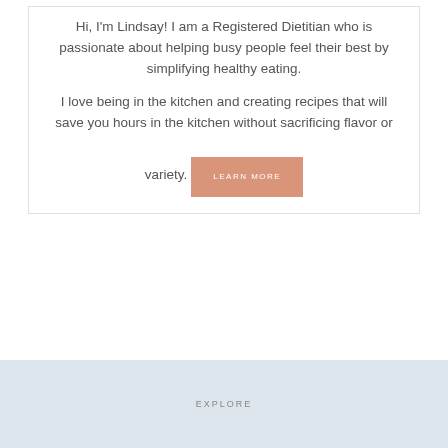Hi, I'm Lindsay! I am a Registered Dietitian who is passionate about helping busy people feel their best by simplifying healthy eating.
I love being in the kitchen and creating recipes that will save you hours in the kitchen without sacrificing flavor or variety. LEARN MORE
EXPLORE